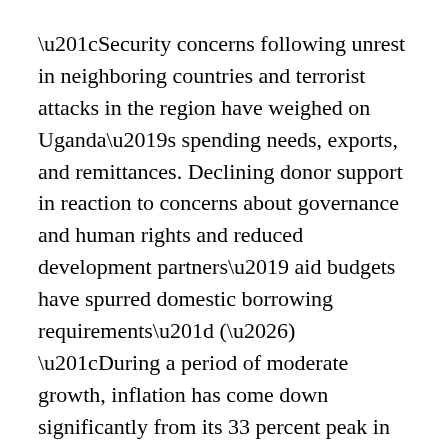“Security concerns following unrest in neighboring countries and terrorist attacks in the region have weighed on Uganda’s spending needs, exports, and remittances. Declining donor support in reaction to concerns about governance and human rights and reduced development partners’ aid budgets have spurred domestic borrowing requirements” (…) “During a period of moderate growth, inflation has come down significantly from its 33 percent peak in 2011; and despite a decline in international reserves and a pickup in public debt, both remain at comfortable levels” (…) “The reduction in the stock of domestic arrears was smaller than